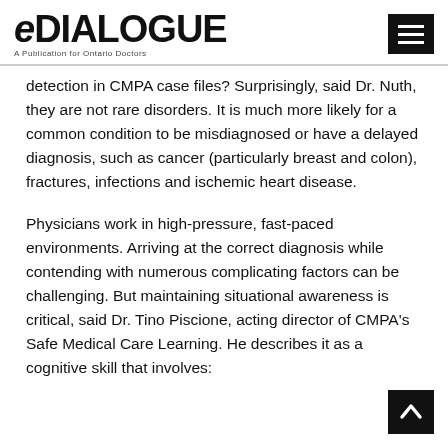eDIALOGUE — A Publication for Ontario Doctors
detection in CMPA case files? Surprisingly, said Dr. Nuth, they are not rare disorders. It is much more likely for a common condition to be misdiagnosed or have a delayed diagnosis, such as cancer (particularly breast and colon), fractures, infections and ischemic heart disease.
Physicians work in high-pressure, fast-paced environments. Arriving at the correct diagnosis while contending with numerous complicating factors can be challenging. But maintaining situational awareness is critical, said Dr. Tino Piscione, acting director of CMPA's Safe Medical Care Learning. He describes it as a cognitive skill that involves: